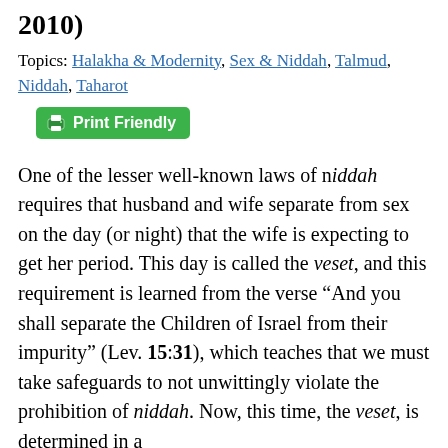2010)
Topics: Halakha & Modernity, Sex & Niddah, Talmud, Niddah, Taharot
Print Friendly
One of the lesser well-known laws of niddah requires that husband and wife separate from sex on the day (or night) that the wife is expecting to get her period. This day is called the veset, and this requirement is learned from the verse “And you shall separate the Children of Israel from their impurity” (Lev. 15:31), which teaches that we must take safeguards to not unwittingly violate the prohibition of niddah. Now, this time, the veset, is determined in a